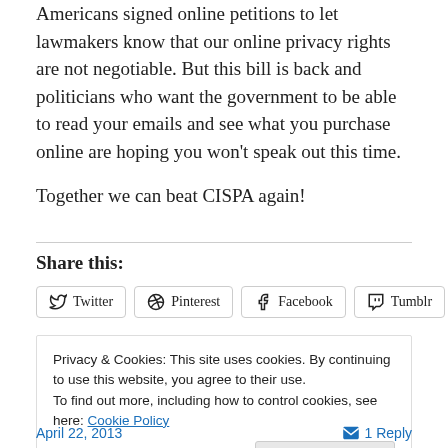Americans signed online petitions to let lawmakers know that our online privacy rights are not negotiable. But this bill is back and politicians who want the government to be able to read your emails and see what you purchase online are hoping you won't speak out this time.
Together we can beat CISPA again!
Share this:
Privacy & Cookies: This site uses cookies. By continuing to use this website, you agree to their use.
To find out more, including how to control cookies, see here: Cookie Policy
April 22, 2013   1 Reply